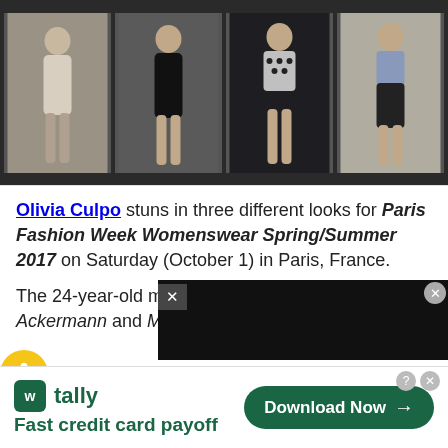[Figure (photo): Four fashion photos of Olivia Culpo at Paris Fashion Week, arranged in a horizontal strip on a dark background. She wears four different outfits: a casual beige set, a black leather mini dress, a geometric print mini dress, and a black leather skirt with denim jacket.]
Olivia Culpo stuns in three different looks for Paris Fashion Week Womenswear Spring/Summer 2017 on Saturday (October 1) in Paris, France.
The 24-year-old model stepped out for the Haider Ackermann and Mugler sh...
[Figure (screenshot): Tally app advertisement banner at the bottom of the page. Shows the Tally logo (green square with W), the text 'tally', tagline 'Fast credit card payoff', and a green 'Download Now →' button.]